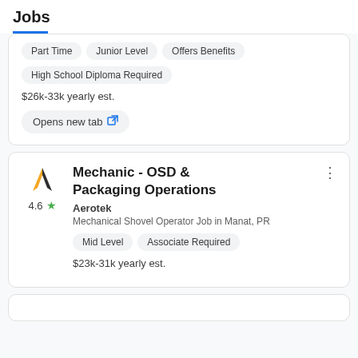Jobs
Part Time   Junior Level   Offers Benefits
High School Diploma Required
$26k-33k yearly est.
Opens new tab
Mechanic - OSD & Packaging Operations
Aerotek
Mechanical Shovel Operator Job in Manat, PR
Mid Level   Associate Required
$23k-31k yearly est.